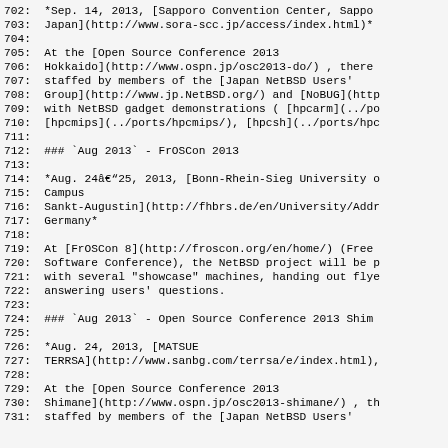702:  *Sep. 14, 2013, [Sapporo Convention Center, Sappo
703:  Japan](http://www.sora-scc.jp/access/index.html)*
704:
705:  At the [Open Source Conference 2013
706:  Hokkaido](http://www.ospn.jp/osc2013-do/) , there
707:  staffed by members of the [Japan NetBSD Users'
708:  Group](http://www.jp.NetBSD.org/) and [NoBUG](http
709:  with NetBSD gadget demonstrations ( [hpcarm](../po
710:  [hpcmips](../ports/hpcmips/), [hpcsh](../ports/hpc
711:
712:  ### `Aug 2013` - FrOSCon 2013
713:
714:  *Aug. 24â€“25, 2013, [Bonn-Rhein-Sieg University o
715:  Campus
716:  Sankt-Augustin](http://fhbrs.de/en/University/Addr
717:  Germany*
718:
719:  At [FrOSCon 8](http://froscon.org/en/home/) (Free
720:  Software Conference), the NetBSD project will be p
721:  with several "showcase" machines, handing out flye
722:  answering users' questions.
723:
724:  ### `Aug 2013` - Open Source Conference 2013 Shim
725:
726:  *Aug. 24, 2013, [MATSUE
727:  TERRSA](http://www.sanbg.com/terrsa/e/index.html),
728:
729:  At the [Open Source Conference 2013
730:  Shimane](http://www.ospn.jp/osc2013-shimane/) , th
731:  staffed by members of the [Japan NetBSD Users'